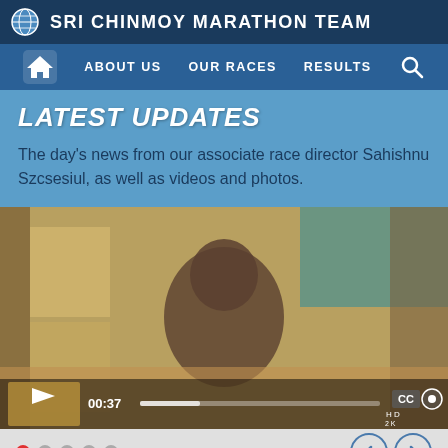SRI CHINMOY MARATHON TEAM
ABOUT US  OUR RACES  RESULTS
LATEST UPDATES
The day's news from our associate race director Sahishnu Szcsesiul, as well as videos and photos.
[Figure (screenshot): Video player showing a blurred image of a person sitting at a desk speaking; video controls visible at bottom with play button, time display 00:37, progress bar, CC button, settings gear, and resolution options.]